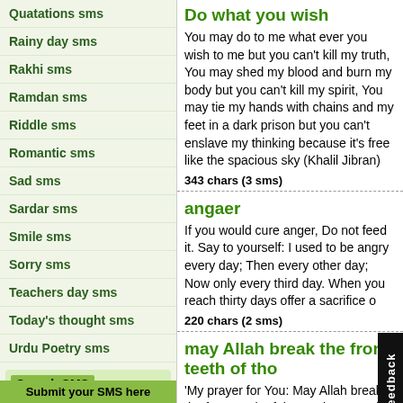Quatations sms
Rainy day sms
Rakhi sms
Ramdan sms
Riddle sms
Romantic sms
Sad sms
Sardar sms
Smile sms
Sorry sms
Teachers day sms
Today's thought sms
Urdu Poetry sms
Search SMS
e.g. faraz, sardar, etc.
Submit your SMS here
Do what you wish
You may do to me what ever you wish to me but you can't kill my truth, You may shed my blood and burn my body but you can't kill my spirit, You may tie my hands with chains and my feet in a dark prison but you can't enslave my thinking because it's free like the spacious sky (Khalil Jibran)
343 chars (3 sms)
angaer
If you would cure anger, Do not feed it. Say to yourself: I used to be angry every day; Then every other day; Now only every third day. When you reach thirty days offer a sacrifice of thanksgiving to the gods.
220 chars (2 sms)
may Allah break the front teeth of tho
'My prayer for You: May Allah break the front teeth of those who spread evil against you secretly, so that you know your enemy by their smile. :D ;)'
168 chars (2 sms)
Attitude Makes U Defer From Others